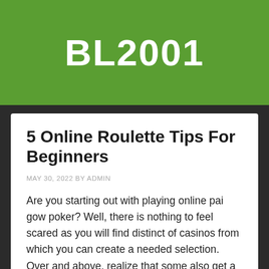BL2001
5 Online Roulette Tips For Beginners
MAY 30, 2022 BY ADMIN
Are you starting out with playing online pai gow poker? Well, there is nothing to feel scared as you will find distinct of casinos from which you can create a needed selection. Over and above, realize that some also get a varied collection of games from a person can go for your special desired one.